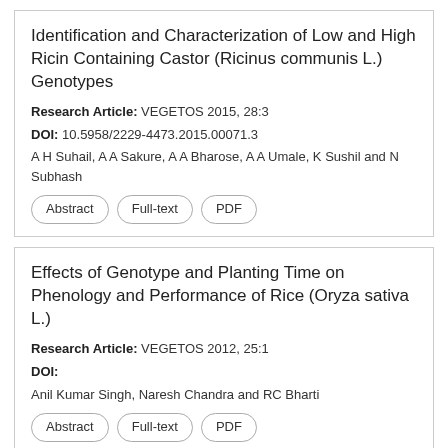Identification and Characterization of Low and High Ricin Containing Castor (Ricinus communis L.) Genotypes
Research Article: VEGETOS 2015, 28:3
DOI: 10.5958/2229-4473.2015.00071.3
A H Suhail, A A Sakure, A A Bharose, A A Umale, K Sushil and N Subhash
Abstract
Full-text
PDF
Effects of Genotype and Planting Time on Phenology and Performance of Rice (Oryza sativa L.)
Research Article: VEGETOS 2012, 25:1
DOI:
Anil Kumar Singh, Naresh Chandra and RC Bharti
Abstract
Full-text
PDF
Vegetative Multiplication of Oregano (Origanum